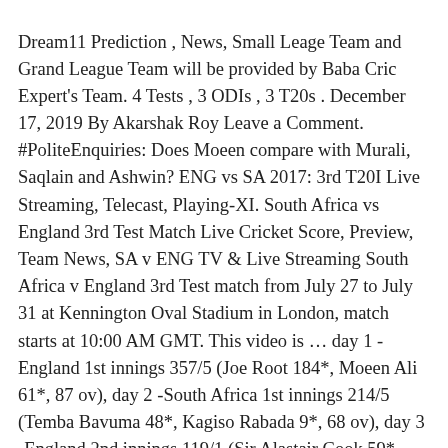Dream11 Prediction , News, Small Leage Team and Grand League Team will be provided by Baba Cric Expert's Team. 4 Tests , 3 ODIs , 3 T20s . December 17, 2019 By Akarshak Roy Leave a Comment. #PoliteEnquiries: Does Moeen compare with Murali, Saqlain and Ashwin? ENG vs SA 2017: 3rd T20I Live Streaming, Telecast, Playing-XI. South Africa vs England 3rd Test Match Live Cricket Score, Preview, Team News, SA v ENG TV & Live Streaming South Africa v England 3rd Test match from July 27 to July 31 at Kennington Oval Stadium in London, match starts at 10:00 AM GMT. This video is … day 1 -England 1st innings 357/5 (Joe Root 184*, Moeen Ali 61*, 87 ov), day 2 -South Africa 1st innings 214/5 (Temba Bavuma 48*, Kagiso Rabada 9*, 68 ov), day 3 -England 2nd innings 119/1 (Sir Alastair Cook 59*, Gary Ballance 22*, 51 ov), day 4 -South Africa 2nd innings 119/10 (36.4 ov) - end of match, 11am start, Lunch 13.00-13.40, Tea 15.40-16.00, Close 18.00, Drinks: England - 48/2 in 13.0 overs (GS Ballance 20, JE Root 13), Over 13.6: Review by England (Batting), Umpire - S Ravi, Batsman - GS Ballance (Struck down), England: 50 runs in 14.1 overs (89 balls), Extras 4, Lunch: England - 82/4 in 25.0 overs (JE Root 33, BA